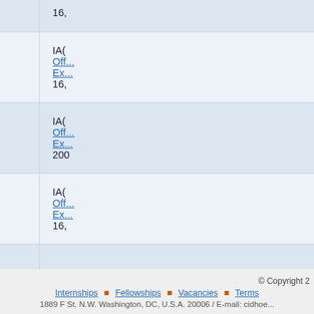| Year | Name | Reference |
| --- | --- | --- |
| (partial top row) |  | 16,... |
| 2000 | Santiago Cantón | IAC
Off...
Ex...
16,... |
| 1999 | Santiago Cantón | IAC
Off...
Ex...
200... |
| 1998 | Santiago Cantón | IAC
Off...
Ex...
16,... |
© Copyright 2...
Internships  ■  Fellowships  ■  Vacancies  ■  Terms...
1889 F St. N.W. Washington, DC, U.S.A. 20006 / E-mail: cidhoe...